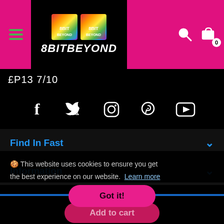[Figure (logo): 8BITBEYOND logo with rainbow colored icons on black background, displayed in a pink/magenta header bar with hamburger menu, search icon, and cart icon showing 0]
£P13 7/10
[Figure (infographic): Social media icons row: Facebook, Twitter, Instagram, Pinterest, YouTube — white icons on black background]
Find In Fast
Information
🍪 This website uses cookies to ensure you get the best experience on our website. Learn more
Got it!
Add to cart